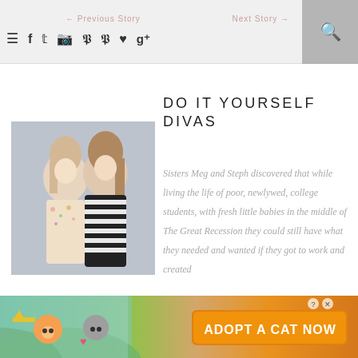← Previous Story    Next Story →
[Figure (photo): Two women posing together — one in a floral outfit, one in a black and white striped sweater, photographed in front of a corrugated metal background]
DO IT YOURSELF DIVAS
Sisters Meg and Steph discovered that while living the life of poor, newlywed, college students, with fresh little babies in the middle of The Great Recession they could still have what they needed and wanted if they got to work and created
[Figure (illustration): Advertisement banner: Cat game mobile app ad with cartoon cats — 'ADOPT A CAT NOW']